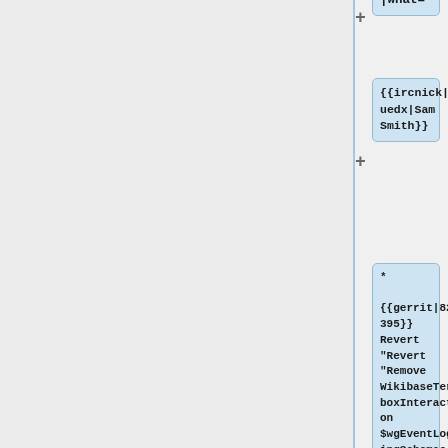|what=
{{ircnick|phuedx|Sam Smith}}
* {{gerrit|822395}} Revert "Revert "Remove WikibaseTermboxInteraction $wgEventLoggingSchemas entry""
{{ircnick|koi|Stang}}
* [config]